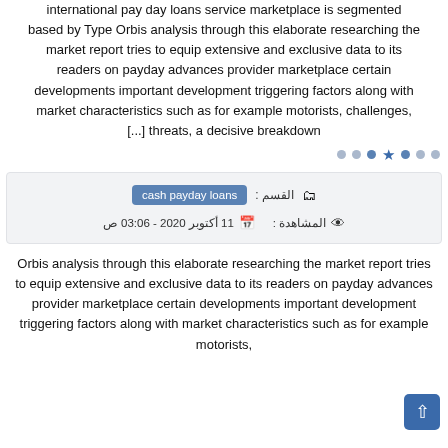international pay day loans service marketplace is segmented based by Type Orbis analysis through this elaborate researching the market report tries to equip extensive and exclusive data to its readers on payday advances provider marketplace certain developments important development triggering factors along with market characteristics such as for example motorists, challenges, [...] threats, a decisive breakdown
القسم : cash payday loans | المشاهدة : 11 أكتوبر 2020 - 03:06 ص
Orbis analysis through this elaborate researching the market report tries to equip extensive and exclusive data to its readers on payday advances provider marketplace certain developments important development triggering factors along with market characteristics such as for example motorists, challenges,